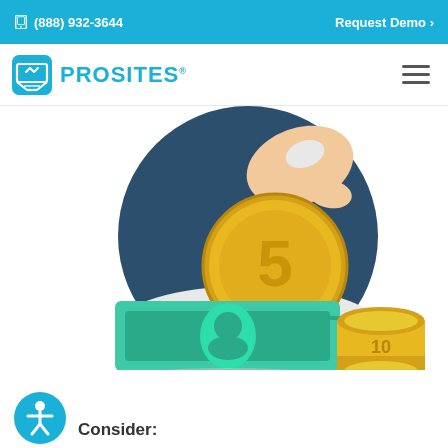(888) 932-3644   Request Demo >
[Figure (logo): ProSites logo with icon and text]
[Figure (illustration): Illustration of money: a hand inserting a gold coin (labeled 5) into a slot above a stack of green banknotes and gold coins (labeled 10), set against a dark blue circular background]
[Figure (illustration): Accessibility icon: circular blue button with person/wheelchair figure]
Consider: